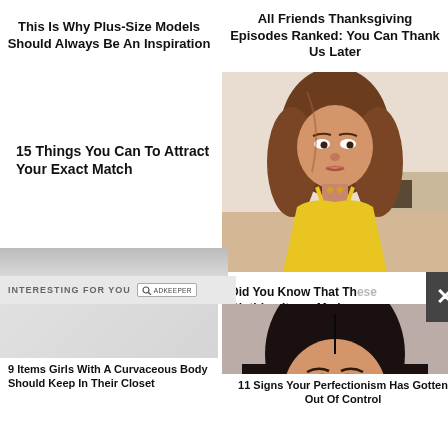This Is Why Plus-Size Models Should Always Be An Inspiration
All Friends Thanksgiving Episodes Ranked: You Can Thank Us Later
15 Things You Can To Attract Your Exact Match
[Figure (photo): Woman in yellow dress]
Did You Know That These Clothing Items Made
INTERESTING FOR YOU
9 Items Girls With A Curvaceous Body Should Keep In Their Closet
[Figure (photo): Child making a funny face]
11 Signs Your Perfectionism Has Gotten Out Of Control